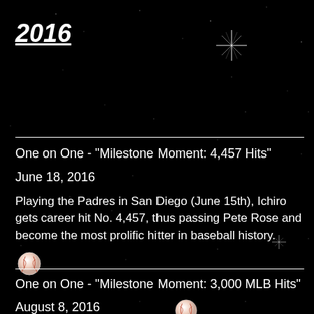2016
One on One - "Milestone Moment: 4,457 Hits"
June 18, 2016
Playing the Padres in San Diego (June 15th), Ichiro gets career hit No. 4,457, thus passing Pete Rose and become the most prolific hitter in baseball history.
One on One - "Milestone Moment: 3,000 MLB Hits"
August 8, 2016
Playing the Padres in San Diego (August 7th), Ichiro gets MLB hit No. 3,000